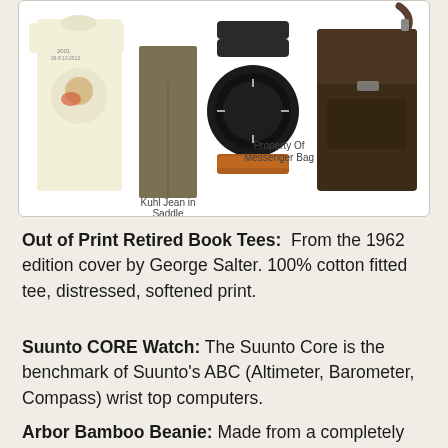[Figure (photo): Product photo showing four items: a cream-colored printed t-shirt, olive/brown Kuhl jeans, a black Suunto CORE watch with orange base, and a dark brown Property Of messenger bag. Labels beneath jeans read 'Kuhl Jean in Saddle' and beneath watch area 'Property Of Messenger Bag'.]
Out of Print Retired Book Tees:  From the 1962 edition cover by George Salter. 100% cotton fitted tee, distressed, softened print.
Suunto CORE Watch: The Suunto Core is the benchmark of Suunto's ABC (Altimeter, Barometer, Compass) wrist top computers.
Arbor Bamboo Beanie: Made from a completely sustainable resource, 100% Bamboo Beanie.